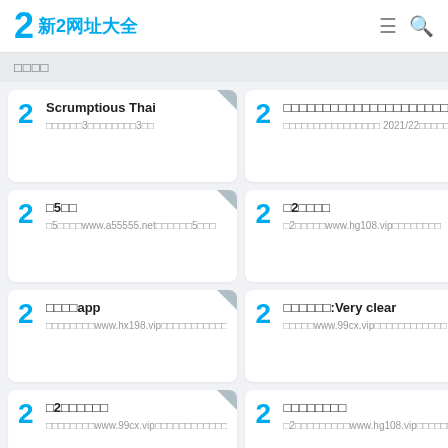新2网址大全
□□□□
Scrumptious Thai — □□□□□□3□□□□□□□□3□□
□□□□□□□□□□□□□□□□□□□□□□ — □□□□□□□□□□□□□□□□ 2021/22□□□□□□□□□□
□5□□ — □5□□□□www.a55555.net□□□□□□5□□□
□2□□□□ — □2□□□□□www.hg108.vip□□□□□□□□
□□□□app — □□□□□□□□www.hx198.vip□□□□□□□□□□□
□□□□□□:Very clear — □□□□□www.99cx.vip□□□□□□□□□□□□
□2□□□□□□ — □□□□□□□□www.99cx.vip□□□□□□□□□□□□
□□□□□□□□ — □2□□□□□□□□□www.hg108.vip□□□□□□